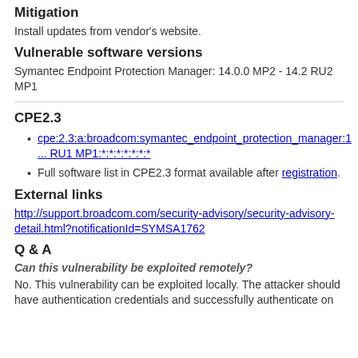Mitigation
Install updates from vendor's website.
Vulnerable software versions
Symantec Endpoint Protection Manager: 14.0.0 MP2 - 14.2 RU2 MP1
CPE2.3
cpe:2.3:a:broadcom:symantec_endpoint_protection_manager:1... RU1 MP1:*:*:*:*:*:*:*
Full software list in CPE2.3 format available after registration.
External links
http://support.broadcom.com/security-advisory/security-advisory-detail.html?notificationId=SYMSA1762
Q & A
Can this vulnerability be exploited remotely?
No. This vulnerability can be exploited locally. The attacker should have authentication credentials and successfully authenticate on